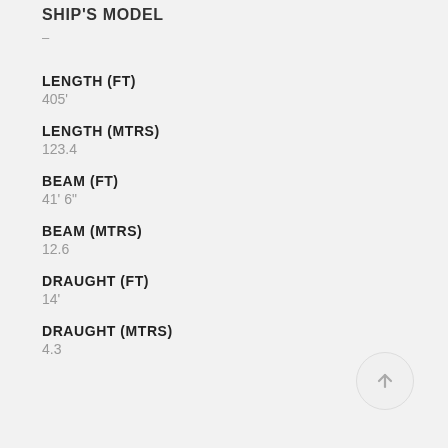SHIP'S MODEL
–
LENGTH (FT)
405'
LENGTH (MTRS)
123.4
BEAM (FT)
41' 6"
BEAM (MTRS)
12.6
DRAUGHT (FT)
14'
DRAUGHT (MTRS)
4.3